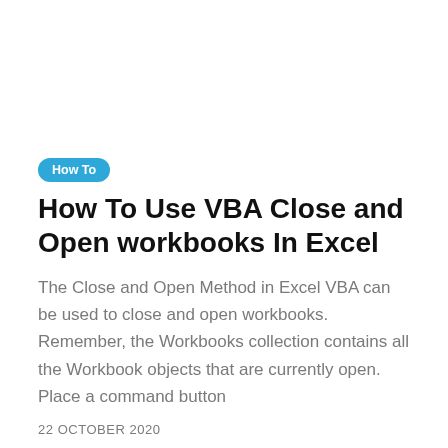How To
How To Use VBA Close and Open workbooks In Excel
The Close and Open Method in Excel VBA can be used to close and open workbooks. Remember, the Workbooks collection contains all the Workbook objects that are currently open. Place a command button
22 OCTOBER 2020